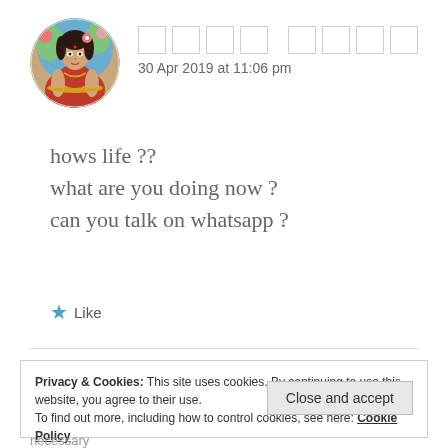[Figure (illustration): Circular avatar showing a woman in traditional Indian attire with colorful clothing and flowers]
□□□□ □□□□
30 Apr 2019 at 11:06 pm
hows life ??
what are you doing now ?
can you talk on whatsapp ?
★ Like
Privacy & Cookies: This site uses cookies. By continuing to use this website, you agree to their use.
To find out more, including how to control cookies, see here: Cookie Policy
Close and accept
necessary